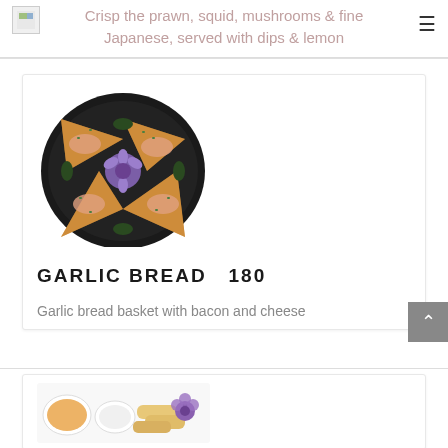Crisp the prawn, squid, mushrooms & fine Japanese, served with dips & lemon
[Figure (photo): Food photo of garlic bread pieces arranged in a star pattern on a dark plate with purple flower garnish]
GARLIC BREAD  180
Garlic bread basket with bacon and cheese
[Figure (photo): Partial food photo showing spring rolls and dipping sauces with purple flower garnish on a white plate]